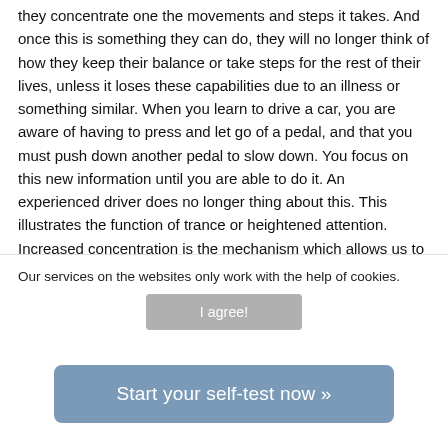they concentrate one the movements and steps it takes. And once this is something they can do, they will no longer think of how they keep their balance or take steps for the rest of their lives, unless it loses these capabilities due to an illness or something similar. When you learn to drive a car, you are aware of having to press and let go of a pedal, and that you must push down another pedal to slow down. You focus on this new information until you are able to do it. An experienced driver does no longer thing about this. This illustrates the function of trance or heightened attention. Increased concentration is the mechanism which allows us to use only the information needed which is useful at that time, and focus on what we need to think of in order to learn new and important things. In that case...
Our services on the websites only work with the help of cookies.
I agree!
Start your self-test now »